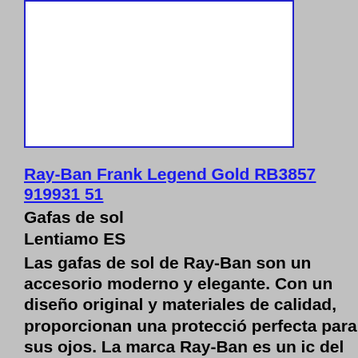[Figure (photo): White rectangular image placeholder with blue border, showing a product image area for Ray-Ban sunglasses]
Ray-Ban Frank Legend Gold RB3857 919931 51
Gafas de sol
Lentiamo ES
Las gafas de sol de Ray-Ban son un accesorio moderno y elegante. Con un diseño original y materiales de calidad, proporcionan una protección perfecta para sus ojos. La marca Ray-Ban es un icono del mercado que ofrece varios estilos de monturas populares entre todas las generaciones en todo el mundo. Las gafas de sol unisex Ray-Ban Frank Legend Gold RB3857 919931 51 son muy populares para todos. Monturas de gafas de sol El color negro de la montura combina perfectamente con un tono de piel claro y un cabello rubio claro, castaño claro o negro. Las monturas cuadradas son una opción id para quienes tienen una forma de cara redonda